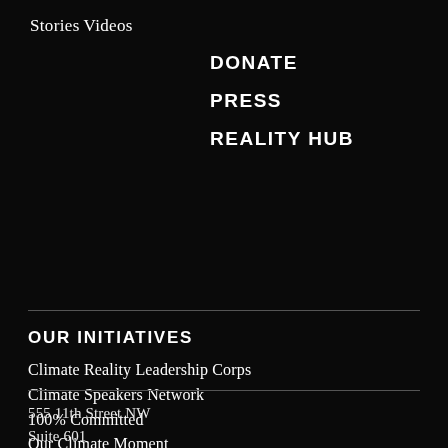Stories
Videos
DONATE
PRESS
REALITY HUB
OUR INITIATIVES
Climate Reality Leadership Corps
Climate Speakers Network
100% Committed
Our Climate Moment
24 Hours of Reality
Public Webinars
555 11th Street NW
Suite 601
Washington, DC 20004